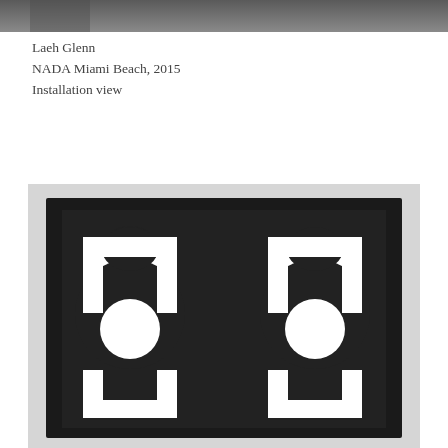[Figure (photo): Top portion of an installation view photograph, showing a partial gray/dark background scene, cropped at top of page.]
Laeh Glenn
NADA Miami Beach, 2015
Installation view
[Figure (photo): Artwork photograph showing a black-framed piece with a black background and two white abstract circular/crescent shapes arranged symmetrically, resembling stylized eyes or decorative motifs.]